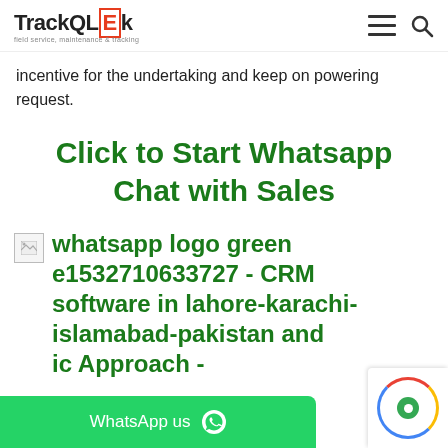TrackQLEk — field service, maintenance & tracking
incentive for the undertaking and keep on powering request.
Click to Start Whatsapp Chat with Sales
[Figure (illustration): Broken image placeholder followed by alt text: whatsapp logo green e1532710633727 - CRM software in lahore-karachi-islamabad-pakistan and ic Approach -]
WhatsApp us